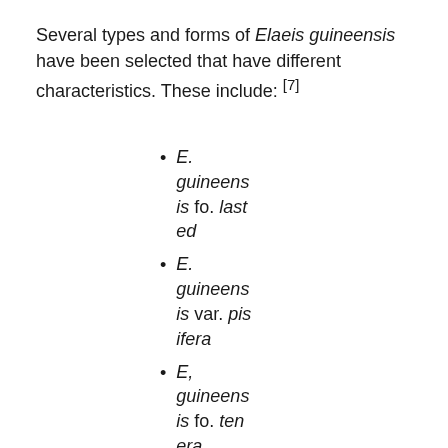Several types and forms of Elaeis guineensis have been selected that have different characteristics. These include: [7]
E. guineensis fo. lasted
E. guineensis var. pisifera
E, guineensis fo. tenera